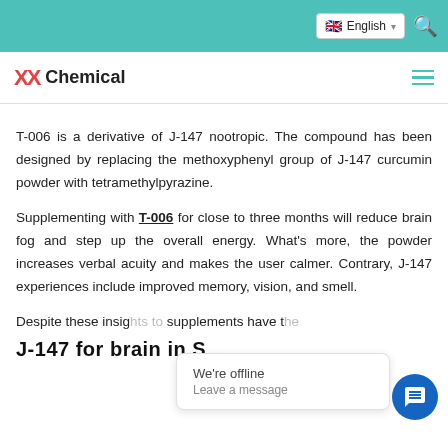English
XX Chemical
T-006 is a derivative of J-147 nootropic. The compound has been designed by replacing the methoxyphenyl group of J-147 curcumin powder with tetramethylpyrazine.
Supplementing with T-006 for close to three months will reduce brain fog and step up the overall energy. What's more, the powder increases verbal acuity and makes the user calmer. Contrary, J-147 experiences include improved memory, vision, and smell.
Despite these insig... supplements have t...
J-147 for brain in S...